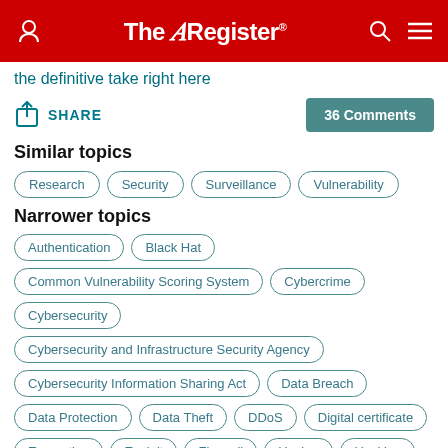The Register
the definitive take right here
SHARE | 36 Comments
Similar topics
Research
Security
Surveillance
Vulnerability
Narrower topics
Authentication
Black Hat
Common Vulnerability Scoring System
Cybercrime
Cybersecurity
Cybersecurity and Infrastructure Security Agency
Cybersecurity Information Sharing Act
Data Breach
Data Protection
Data Theft
DDoS
Digital certificate
Encryption
Exploit
Firewall
Hacker
Hacking